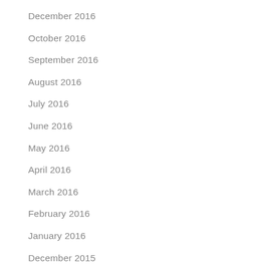December 2016
October 2016
September 2016
August 2016
July 2016
June 2016
May 2016
April 2016
March 2016
February 2016
January 2016
December 2015
September 2015